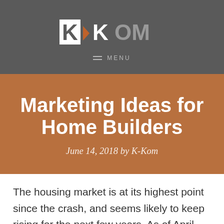K-KOM
MENU
Marketing Ideas for Home Builders
June 14, 2018 by K-Kom
The housing market is at its highest point since the crash, and seems likely to keep rising for the next few years. As of April 2018, the US Census Bureau announced an official number of new residential